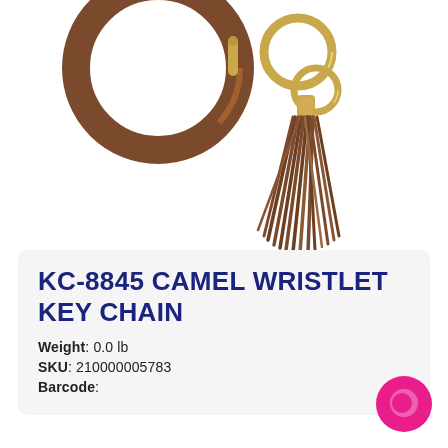[Figure (photo): A brown camel wristlet key chain with a large circular silicone bangle ring and a brown leather tassel with gold metal rings, photographed on a white background.]
KC-8845 CAMEL WRISTLET KEY CHAIN
Weight: 0.0 lb
SKU: 210000005783
Barcode:
[Figure (logo): Pink circular chat/messaging app icon in the bottom right corner.]